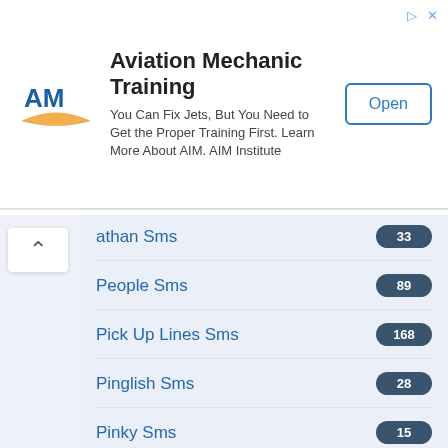[Figure (other): Aviation Mechanic Training advertisement banner with AIM Institute logo, tagline, and Open button]
athan Sms — 33
People Sms — 89
Pick Up Lines Sms — 168
Pinglish Sms — 28
Pinky Sms — 15
PJs Sms — 14
Poetry sms — 12
Pranks Sms — 171
Propose Sms — 49